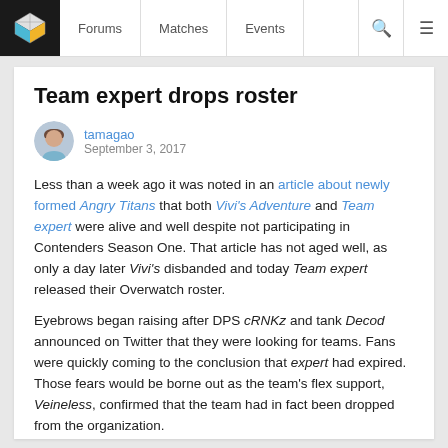Forums   Matches   Events
Team expert drops roster
tamagao
September 3, 2017
Less than a week ago it was noted in an article about newly formed Angry Titans that both Vivi's Adventure and Team expert were alive and well despite not participating in Contenders Season One. That article has not aged well, as only a day later Vivi's disbanded and today Team expert released their Overwatch roster.
Eyebrows began raising after DPS cRNKz and tank Decod announced on Twitter that they were looking for teams. Fans were quickly coming to the conclusion that expert had expired. Those fears would be borne out as the team's flex support, Veineless, confirmed that the team had in fact been dropped from the organization.